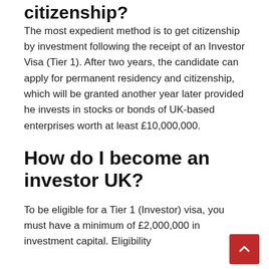citizenship?
The most expedient method is to get citizenship by investment following the receipt of an Investor Visa (Tier 1). After two years, the candidate can apply for permanent residency and citizenship, which will be granted another year later provided he invests in stocks or bonds of UK-based enterprises worth at least £10,000,000.
How do I become an investor UK?
To be eligible for a Tier 1 (Investor) visa, you must have a minimum of £2,000,000 in investment capital. Eligibility